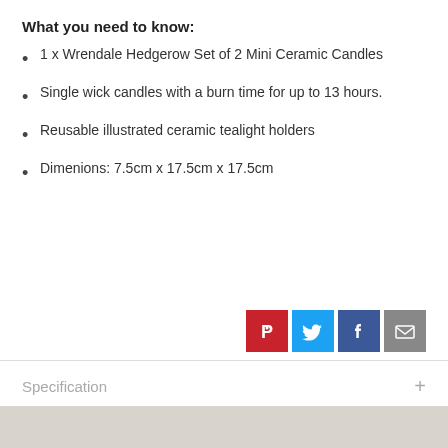What you need to know:
1 x Wrendale Hedgerow Set of 2 Mini Ceramic Candles
Single wick candles with a burn time for up to 13 hours.
Reusable illustrated ceramic tealight holders
Dimenions: 7.5cm x 17.5cm x 17.5cm
[Figure (infographic): Social share buttons: Pinterest (red), Twitter (blue), Facebook (dark blue), Email (grey)]
Specification +
Delivery & Returns +